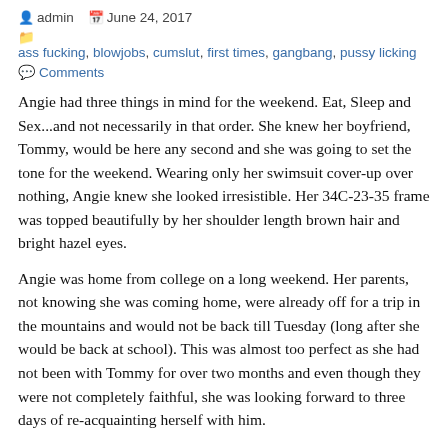admin  June 24, 2017
ass fucking, blowjobs, cumslut, first times, gangbang, pussy licking
Comments
Angie had three things in mind for the weekend. Eat, Sleep and Sex...and not necessarily in that order. She knew her boyfriend, Tommy, would be here any second and she was going to set the tone for the weekend. Wearing only her swimsuit cover-up over nothing, Angie knew she looked irresistible. Her 34C-23-35 frame was topped beautifully by her shoulder length brown hair and bright hazel eyes.
Angie was home from college on a long weekend. Her parents, not knowing she was coming home, were already off for a trip in the mountains and would not be back till Tuesday (long after she would be back at school). This was almost too perfect as she had not been with Tommy for over two months and even though they were not completely faithful, she was looking forward to three days of re-acquainting herself with him.
The doorbell rang and Angie bounced over to the door. Looking out the peephole to make sure it was him, Angie opened the